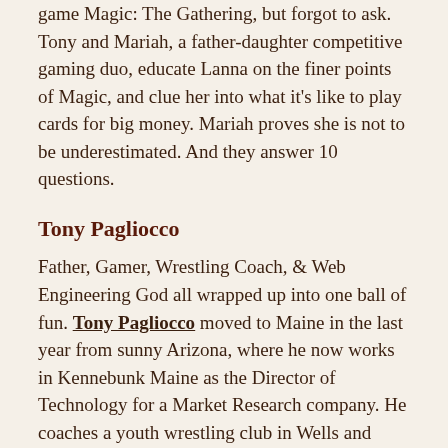Everything you need to know about the popular card game Magic: The Gathering, but forgot to ask. Tony and Mariah, a father-daughter competitive gaming duo, educate Lanna on the finer points of Magic, and clue her into what it's like to play cards for big money. Mariah proves she is not to be underestimated. And they answer 10 questions.
Tony Pagliocco
Father, Gamer, Wrestling Coach, & Web Engineering God all wrapped up into one ball of fun. Tony Pagliocco moved to Maine in the last year from sunny Arizona, where he now works in Kennebunk Maine as the Director of Technology for a Market Research company. He coaches a youth wrestling club in Wells and spends the rest of his time travelling around the Unites States playing on the competitive Magic: the Gathering circuit